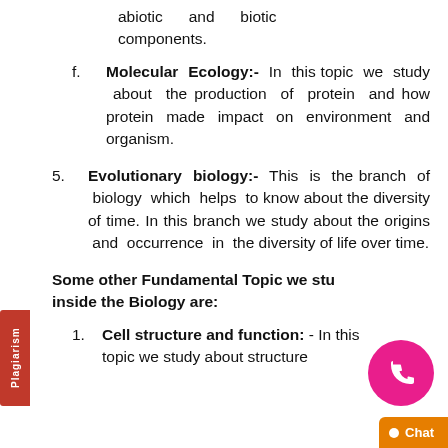abiotic and biotic components.
f. Molecular Ecology:- In this topic we study about the production of protein and how protein made impact on environment and organism.
5. Evolutionary biology:- This is the branch of biology which helps to know about the diversity of time. In this branch we study about the origins and occurrence in the diversity of life over time.
Some other Fundamental Topic we study inside the Biology are:
1. Cell structure and function: - In this topic we study about structure